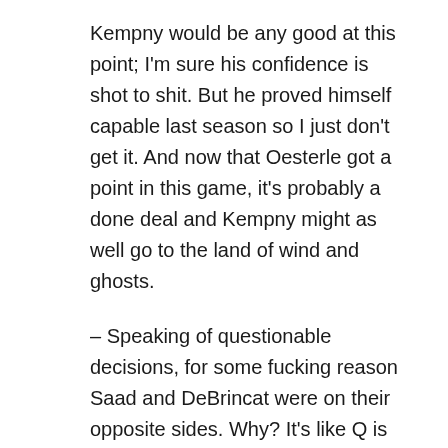Kempny would be any good at this point; I'm sure his confidence is shot to shit. But he proved himself capable last season so I just don't get it. And now that Oesterle got a point in this game, it's probably a done deal and Kempny might as well go to the land of wind and ghosts.
– Speaking of questionable decisions, for some fucking reason Saad and DeBrincat were on their opposite sides. Why? It's like Q is fucking up the new-look top line out of spite. Am I missing something? What is it that I don't know that would explain that? All it led to was Top Cat fat-fingering a pass and missing on what was basically an open net in the first period. This line was pretty quiet all night…gee fucking whiz I wonder why.
– Nick Schmaltz got a well-deserved mark on the